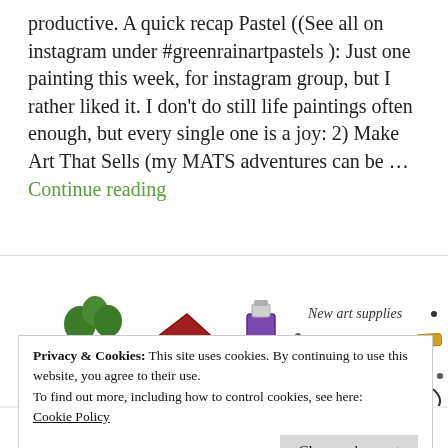productive. A quick recap Pastel ((See all on instagram under #greenrainartpastels ): Just one painting this week, for instagram group, but I rather liked it. I don't do still life paintings often enough, but every single one is a joy: 2) Make Art That Sells (my MATS adventures can be … Continue reading
[Figure (illustration): Hand-drawn illustration showing blooms, a tree, cute houses, a watercolour paint bottle, brushes, 'New art supplies', a speech bubble saying 'bonjour', 'languages', and decorative swirls and dots.]
Privacy & Cookies: This site uses cookies. By continuing to use this website, you agree to their use.
To find out more, including how to control cookies, see here: Cookie Policy
Close and accept
JUNE 1-11, 2017